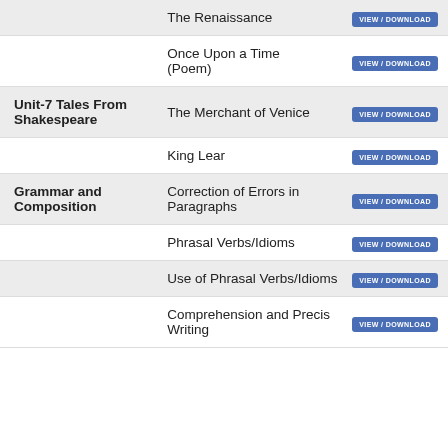| Unit | Topic | Action |
| --- | --- | --- |
|  | The Renaissance | VIEW / DOWNLOAD |
|  | Once Upon a Time (Poem) | VIEW / DOWNLOAD |
| Unit-7 Tales From Shakespeare | The Merchant of Venice | VIEW / DOWNLOAD |
|  | King Lear | VIEW / DOWNLOAD |
| Grammar and Composition | Correction of Errors in Paragraphs | VIEW / DOWNLOAD |
|  | Phrasal Verbs/Idioms | VIEW / DOWNLOAD |
|  | Use of Phrasal Verbs/Idioms | VIEW / DOWNLOAD |
|  | Comprehension and Precis Writing | VIEW / DOWNLOAD |